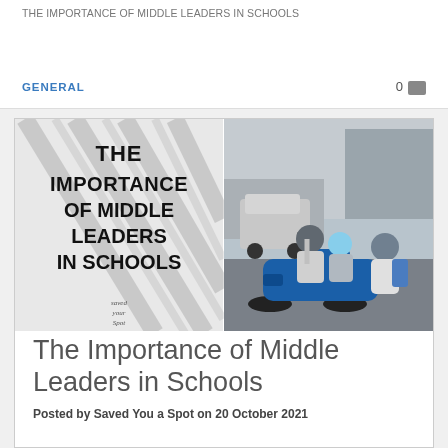THE IMPORTANCE OF MIDDLE LEADERS IN SCHOOLS
GENERAL   0
[Figure (illustration): Composite image: left half shows bold text 'THE IMPORTANCE OF MIDDLE LEADERS IN SCHOOLS' with 'Saved Your Spot' logo on a grey/white background with tire track pattern; right half shows a photograph of three people riding a blue scooter/motorbike on a street, all wearing helmets.]
The Importance of Middle Leaders in Schools
Posted by Saved You a Spot on 20 October 2021